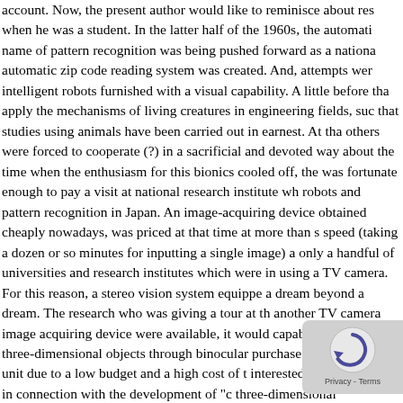account. Now, the present author would like to reminisce about res when he was a student. In the latter half of the 1960s, the automati name of pattern recognition was being pushed forward as a nationa automatic zip code reading system was created. And, attempts wer intelligent robots furnished with a visual capability. A little before tha apply the mechanisms of living creatures in engineering fields, suc that studies using animals have been carried out in earnest. At tha others were forced to cooperate (?) in a sacrificial and devoted way about the time when the enthusiasm for this bionics cooled off, the was fortunate enough to pay a visit at national research institute wh robots and pattern recognition in Japan. An image-acquiring device obtained cheaply nowadays, was priced at that time at more than s speed (taking a dozen or so minutes for inputting a single image) a only a handful of universities and research institutes which were in using a TV camera. For this reason, a stereo vision system equippe a dream beyond a dream. The research who was giving a tour at th another TV camera image acquiring device were available, it would capable of recognizing three-dimensional objects through binocular purchase only a single unit due to a low budget and a high cost of t interested in stereo vision in connection with the development of "c three-dimensional drawings"2), had been convinced that For this reason, this arrogant student was audacious eno make possible the input of a pair of two-dimensional pictures but w
[Figure (other): reCAPTCHA or similar CAPTCHA widget watermark in bottom-right corner, showing a circular arrow icon and 'Privacy - Terms' text]